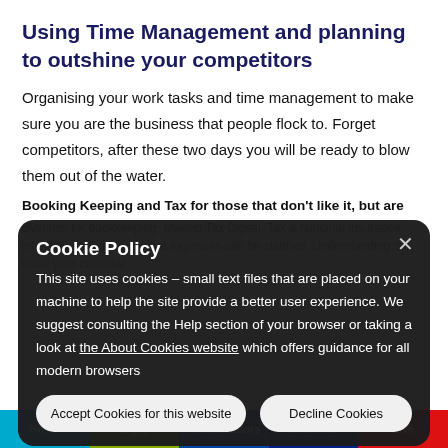Using Time Management and planning to outshine your competitors
Organising your work tasks and time management to make sure you are the business that people flock to. Forget competitors, after these two days you will be ready to blow them out of the water.
Booking Keeping and Tax for those that don't like it, but are
Systems for bookkeeping. Making Tax Digital. Tax & National Insurance information. Exploring what expenses can be claimed. Understanding the fiscal year calendar.
[Figure (screenshot): Cookie Policy overlay modal on a dark semi-transparent background. Contains title 'Cookie Policy', explanatory text about cookies, a link to 'the About Cookies website', and two buttons: 'Accept Cookies for this website' and 'Decline Cookies'. A close button (×) is in the top right corner.]
Home | Enjoy | Ambassadors | Business | Live